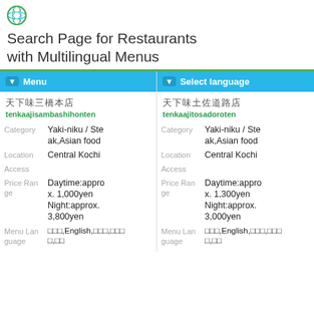[Figure (logo): Green circular globe/leaf logo icon]
Search Page for Restaurants with Multilingual Menus
天下味三橋本店
tenkaajisambashihonten
| Category | Yaki-niku / Steak,Asian food |
| Location | Central Kochi |
| Access |  |
| Price Range | Daytime:approx. 1,000yen Night:approx. 3,800yen |
| Menu Language | 日本語,English,中文,한국어,韓 |
天下味土佐道路店
tenkaajitosadoroten
| Category | Yaki-niku / Steak,Asian food |
| Location | Central Kochi |
| Access |  |
| Price Range | Daytime:approx. 1,300yen Night:approx. 3,000yen |
| Menu Language | 日本語,English,中文,한국어,韓 |